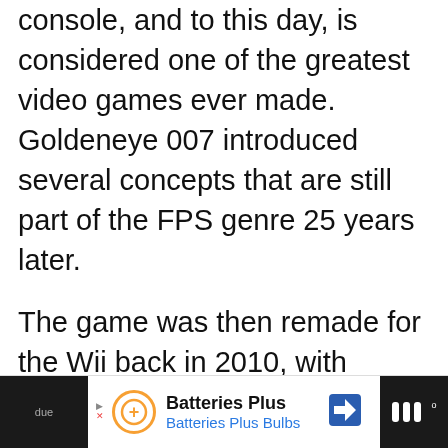console, and to this day, is considered one of the greatest video games ever made. Goldeneye 007 introduced several concepts that are still part of the FPS genre 25 years later.
The game was then remade for the Wii back in 2010, with Pierce Brosnan substituted with Daniel Craig, and with added motion controls. However, this didn’t scratch the itch of any type of remaster/remake of the original Goldeneye 007. Later, it was found out that a project was indeed under development but was canceled
due
[Figure (infographic): Advertisement banner for Batteries Plus / Batteries Plus Bulbs with orange circular logo icon, navigation arrow icon, dark side panels]